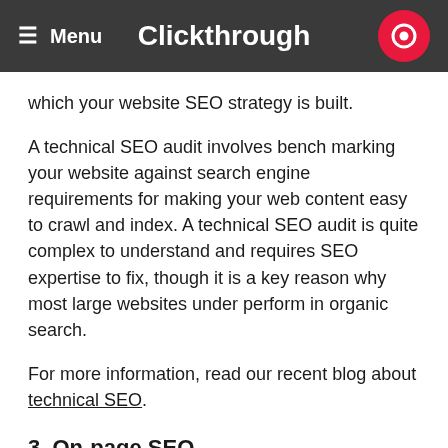Menu  Clickthrough
which your website SEO strategy is built.
A technical SEO audit involves bench marking your website against search engine requirements for making your web content easy to crawl and index. A technical SEO audit is quite complex to understand and requires SEO expertise to fix, though it is a key reason why most large websites under perform in organic search.
For more information, read our recent blog about technical SEO.
3. On-page SEO
An on-page SEO audit assesses the accuracy of your keywords targeting and how well the code and content on the pages of your site are optimized for their target keywords, as opposed to an off-page SEO audit, which